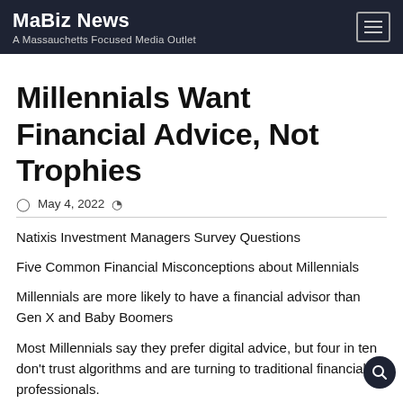MaBiz News
A Massauchetts Focused Media Outlet
Millennials Want Financial Advice, Not Trophies
May 4, 2022
Natixis Investment Managers Survey Questions
Five Common Financial Misconceptions about Millennials
Millennials are more likely to have a financial advisor than Gen X and Baby Boomers
Most Millennials say they prefer digital advice, but four in ten don't trust algorithms and are turning to traditional financial professionals.
Market volatility is top investment concern; inflation is